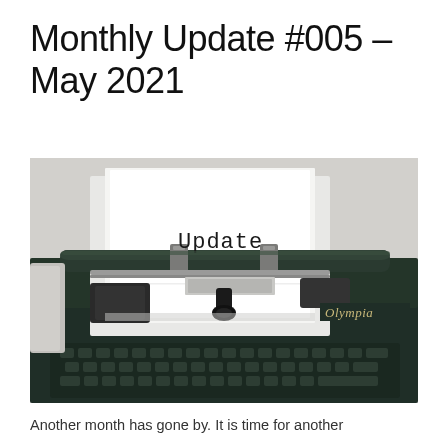Monthly Update #005 – May 2021
[Figure (photo): Close-up photograph of a vintage dark green Olympia typewriter with a white sheet of paper inserted, on which the word 'Update' is typed in typewriter font. The typewriter mechanism and keys are visible.]
Another month has gone by. It is time for another